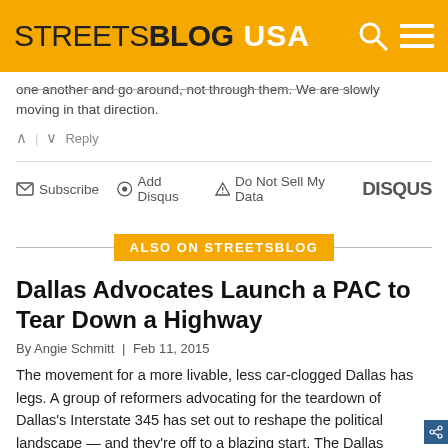STREETSBLOG USA
one another and go around, not through them. We are slowly moving in that direction.
^ | v Reply
Subscribe  Add Disqus  Do Not Sell My Data  DISQUS
ALSO ON STREETSBLOG
Dallas Advocates Launch a PAC to Tear Down a Highway
By Angie Schmitt | Feb 11, 2015
The movement for a more livable, less car-clogged Dallas has legs. A group of reformers advocating for the teardown of Dallas's Interstate 345 has set out to reshape the political landscape — and they're off to a blazing start. The Dallas Morning News reported this week that the group. A